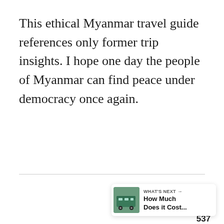This ethical Myanmar travel guide references only former trip insights. I hope one day the people of Myanmar can find peace under democracy once again.
[Figure (other): Floating UI widget panel with heart/like button (dark circle with heart icon), like count '537', share button (white circle with share icon), and a 'WHAT'S NEXT' navigation card showing a bus photo thumbnail with text 'How Much Does it Cost...']